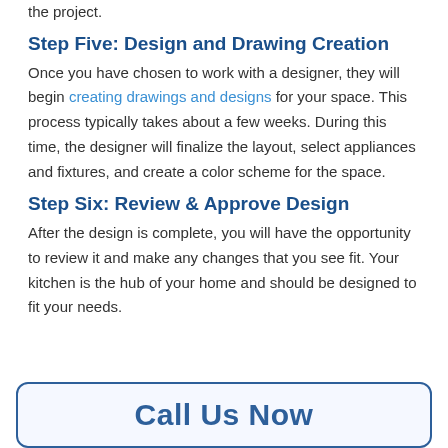the project.
Step Five: Design and Drawing Creation
Once you have chosen to work with a designer, they will begin creating drawings and designs for your space. This process typically takes about a few weeks. During this time, the designer will finalize the layout, select appliances and fixtures, and create a color scheme for the space.
Step Six: Review & Approve Design
After the design is complete, you will have the opportunity to review it and make any changes that you see fit. Your kitchen is the hub of your home and should be designed to fit your needs.
Call Us Now